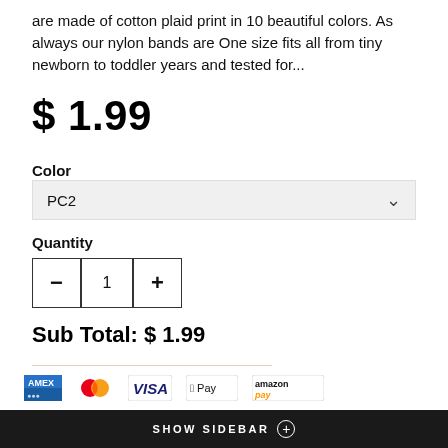are made of cotton plaid print in 10 beautiful colors. As always our nylon bands are One size fits all from tiny newborn to toddler years and tested for...
$ 1.99
Color
PC2
Quantity
1
Sub Total: $ 1.99
Add To Cart
[Figure (screenshot): Payment method icons: American Express, Mastercard, Visa, Apple Pay, Amazon Pay]
SHOW SIDEBAR +